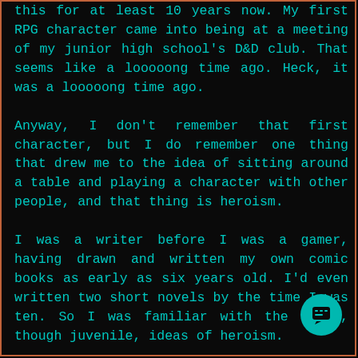this for at least 10 years now. My first RPG character came into being at a meeting of my junior high school's D&D club. That seems like a looooong time ago. Heck, it was a looooong time ago.
Anyway, I don't remember that first character, but I do remember one thing that drew me to the idea of sitting around a table and playing a character with other people, and that thing is heroism.
I was a writer before I was a gamer, having drawn and written my own comic books as early as six years old. I'd even written two short novels by the time I was ten. So I was familiar with the basic, though juvenile, ideas of heroism.
A big draw to me concerning writing had been the